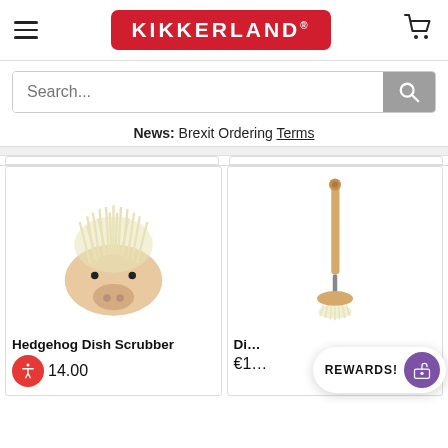Kikkerland
News: Brexit Ordering Terms
[Figure (photo): Hedgehog Dish Scrubber product photo - a pig/hedgehog shaped wooden brush with cream-colored bristles on top]
Hedgehog Dish Scrubber
€14.00
[Figure (photo): Di... product - a long wooden handled dish brush with a round scrubber head at the bottom]
Di...
€1...